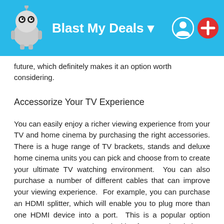Blast My Deals
future, which definitely makes it an option worth considering.
Accessorize Your TV Experience
You can easily enjoy a richer viewing experience from your TV and home cinema by purchasing the right accessories. There is a huge range of TV brackets, stands and deluxe home cinema units you can pick and choose from to create your ultimate TV watching environment. You can also purchase a number of different cables that can improve your viewing experience. For example, you can purchase an HDMI splitter, which will enable you to plug more than one HDMI device into a port. This is a popular option amongst gamers. For those looking for an authentic home cinema experience, you should definitely consider an additional sound system. You have your pick from home cinema systems, sound bars and sound bases.